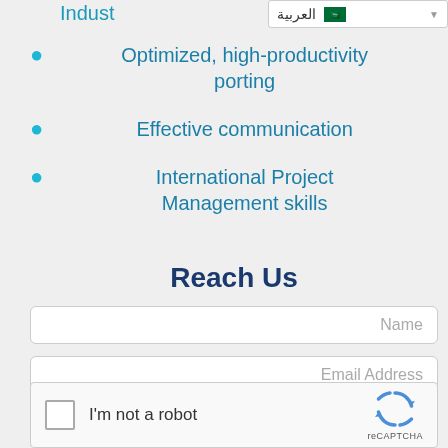[Figure (screenshot): Language selector dropdown showing Arabic (العربية) with Saudi flag]
Indust…
Optimized, high-productivity porting
Effective communication
International Project Management skills
Reach Us
Name
Email Address
Phone No
[Figure (screenshot): reCAPTCHA widget with checkbox and I'm not a robot text]